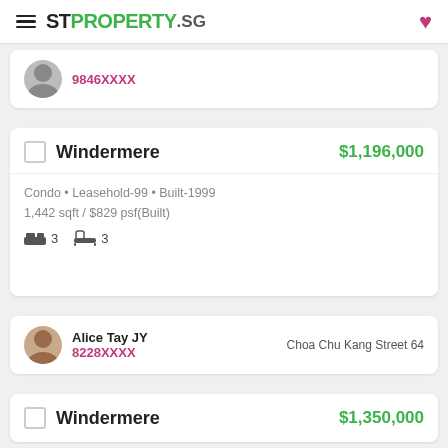STPROPERTY.sg
9846XXXX
Windermere • $1,196,000
Condo • Leasehold-99 • Built-1999
1,442 sqft / $829 psf(Built)
Bed 3  Bath 3
Alice Tay JY
8228XXXX
Choa Chu Kang Street 64
Windermere • $1,350,000